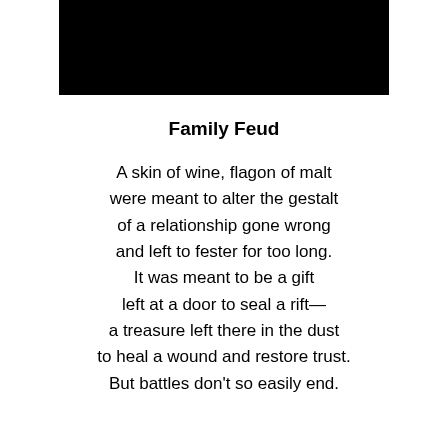[Figure (other): Black rectangular image/banner at the top of the page]
Family Feud
A skin of wine, flagon of malt
were meant to alter the gestalt
of a relationship gone wrong
and left to fester for too long.

It was meant to be a gift
left at a door to seal a rift—
a treasure left there in the dust
to heal a wound and restore trust.

But battles don't so easily end.